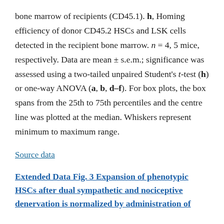bone marrow of recipients (CD45.1). h, Homing efficiency of donor CD45.2 HSCs and LSK cells detected in the recipient bone marrow. n = 4, 5 mice, respectively. Data are mean ± s.e.m.; significance was assessed using a two-tailed unpaired Student's t-test (h) or one-way ANOVA (a, b, d–f). For box plots, the box spans from the 25th to 75th percentiles and the centre line was plotted at the median. Whiskers represent minimum to maximum range.
Source data
Extended Data Fig. 3 Expansion of phenotypic HSCs after dual sympathetic and nociceptive denervation is normalized by administration of